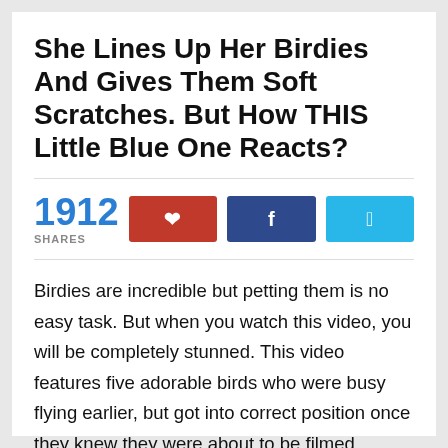She Lines Up Her Birdies And Gives Them Soft Scratches. But How THIS Little Blue One Reacts?
1912 SHARES
Birdies are incredible but petting them is no easy task. But when you watch this video, you will be completely stunned. This video features five adorable birds who were busy flying earlier, but got into correct position once they knew they were about to be filmed.